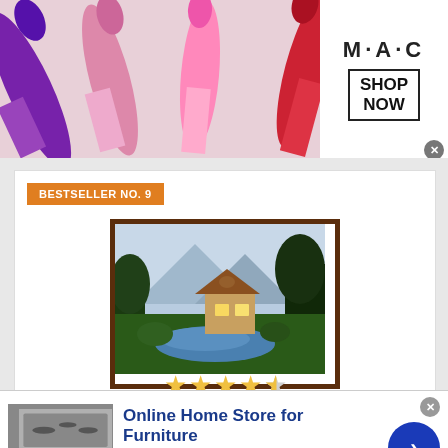[Figure (photo): MAC Cosmetics banner advertisement showing colorful lipsticks on the left side and MAC logo with SHOP NOW button in a box on the right side]
BESTSELLER NO. 9
[Figure (photo): Landscape painting in a dark wooden frame showing a cottage by a stream with mountains, trees, and glowing windows — a Thomas Kinkade style painting]
[Figure (other): 4.5 out of 5 stars rating displayed as yellow stars]
[Figure (photo): Wayfair advertisement showing kitchen appliances image on left, title 'Online Home Store for Furniture', description 'Shop Wayfair for A Zillion Things Home across all styles', URL www.wayfair.com, and a blue circular arrow button on the right]